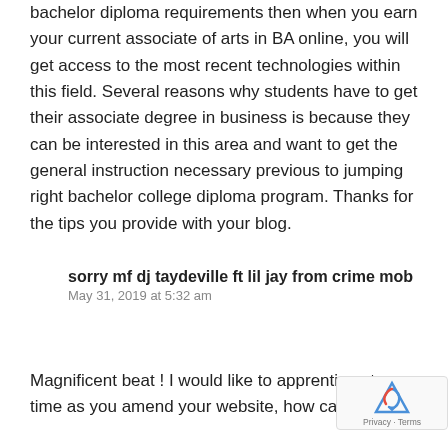bachelor diploma requirements then when you earn your current associate of arts in BA online, you will get access to the most recent technologies within this field. Several reasons why students have to get their associate degree in business is because they can be interested in this area and want to get the general instruction necessary previous to jumping right bachelor college diploma program. Thanks for the tips you provide with your blog.
sorry mf dj taydeville ft lil jay from crime mob
May 31, 2019 at 5:32 am
Magnificent beat ! I would like to apprentice at same time as you amend your website, how can i